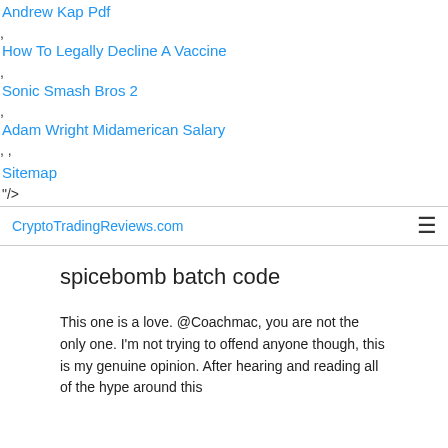Andrew Kap Pdf
,
How To Legally Decline A Vaccine
,
Sonic Smash Bros 2
,
Adam Wright Midamerican Salary
, ,
Sitemap
"/>
CryptoTradingReviews.com
spicebomb batch code
This one is a love. @Coachmac, you are not the only one. I'm not trying to offend anyone though, this is my genuine opinion. After hearing and reading all of the hype around this